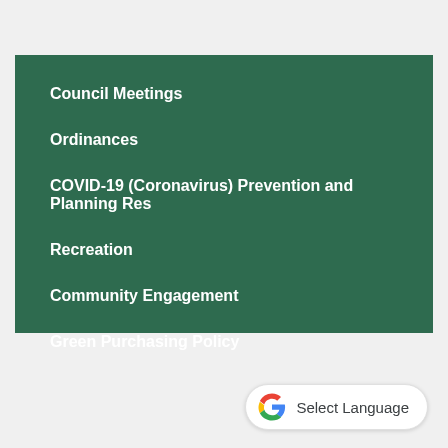Council Meetings
Ordinances
COVID-19 (Coronavirus) Prevention and Planning Res
Recreation
Community Engagement
Green Purchasing Policy
[Figure (logo): Google G logo with 'Select Language' text in a rounded white pill button]